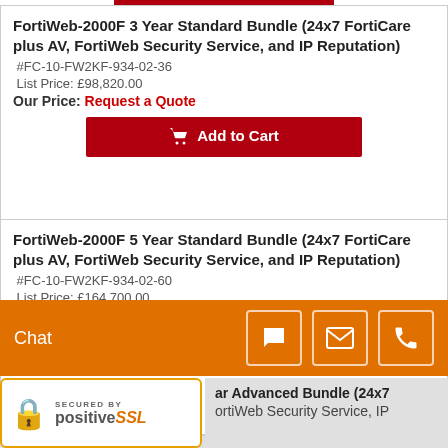FortiWeb-2000F 3 Year Standard Bundle (24x7 FortiCare plus AV, FortiWeb Security Service, and IP Reputation)
#FC-10-FW2KF-934-02-36
List Price: £98,820.00
Our Price: Request a Quote
Add to Cart
FortiWeb-2000F 5 Year Standard Bundle (24x7 FortiCare plus AV, FortiWeb Security Service, and IP Reputation)
#FC-10-FW2KF-934-02-60
List Price: £164,700.00
Our Price: Request a Quote
Add to Cart
FortiWeb-2000F Advanced Bundle (24x7 FortiCare plus
Chat
[Figure (logo): Secured by PositiveSSL badge with padlock icon]
ar Advanced Bundle (24x7 ortiWeb Security Service, IP